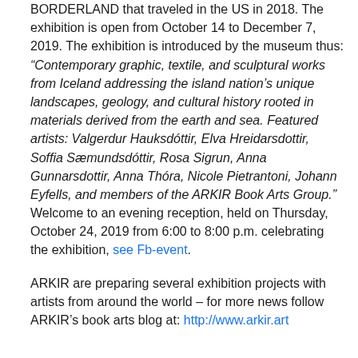BORDERLAND that traveled in the US in 2018. The exhibition is open from October 14 to December 7, 2019. The exhibition is introduced by the museum thus: “Contemporary graphic, textile, and sculptural works from Iceland addressing the island nation’s unique landscapes, geology, and cultural history rooted in materials derived from the earth and sea. Featured artists: Valgerdur Hauksdóttir, Elva Hreidarsdottir, Soffia Sæmundsdóttir, Rosa Sigrun, Anna Gunnarsdottir, Anna Thóra, Nicole Pietrantoni, Johann Eyfells, and members of the ARKIR Book Arts Group.” Welcome to an evening reception, held on Thursday, October 24, 2019 from 6:00 to 8:00 p.m. celebrating the exhibition, see Fb-event.
ARKIR are preparing several exhibition projects with artists from around the world – for more news follow ARKIR’s book arts blog at: http://www.arkir.art